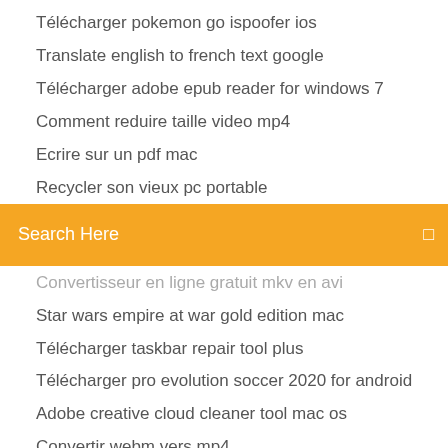Télécharger pokemon go ispoofer ios
Translate english to french text google
Télécharger adobe epub reader for windows 7
Comment reduire taille video mp4
Ecrire sur un pdf mac
Recycler son vieux pc portable
Search Here
Convertisseur en ligne gratuit mkv en avi
Star wars empire at war gold edition mac
Télécharger taskbar repair tool plus
Télécharger pro evolution soccer 2020 for android
Adobe creative cloud cleaner tool mac os
Convertir webm vers mp4
Tourner une video windows media player
Stop pub ordinateur gratuit
Microsoft camera codec pack windows 7 télécharger
Idm internet télécharger manager serial key
Telecharger lanceur dapplications google chrome